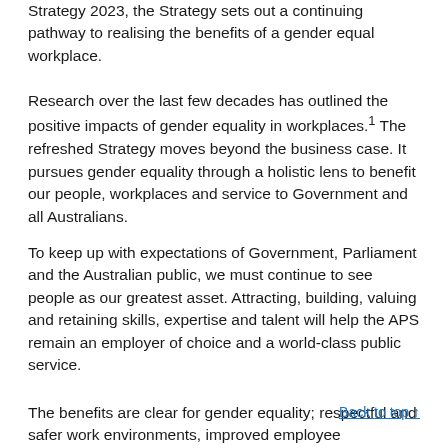Strategy 2023, the Strategy sets out a continuing pathway to realising the benefits of a gender equal workplace.
Research over the last few decades has outlined the positive impacts of gender equality in workplaces.1 The refreshed Strategy moves beyond the business case. It pursues gender equality through a holistic lens to benefit our people, workplaces and service to Government and all Australians.
To keep up with expectations of Government, Parliament and the Australian public, we must continue to see people as our greatest asset. Attracting, building, valuing and retaining skills, expertise and talent will help the APS remain an employer of choice and a world-class public service.
The benefits are clear for gender equality; respectful and safer work environments, improved employee engagement and wellbeing, improved innovation and productivity...
Back to top ↑